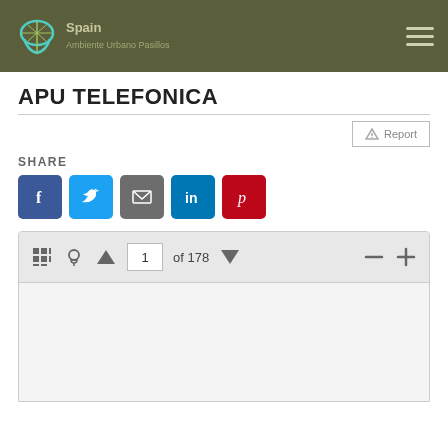Spain
APU TELEFONICA
Report
SHARE
[Figure (screenshot): Social share buttons: Facebook, Twitter, Email, LinkedIn, Pinterest]
[Figure (screenshot): Document viewer toolbar showing page navigation: 1 of 178, with grid view, lightbulb, up arrow, down arrow, minus, plus controls]